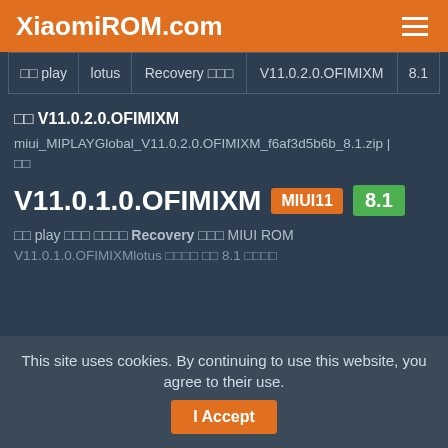XiaomiROM.com
| □□ play | lotus | Recovery □□□ | V11.0.2.0.OFIMIXM | 8.1 |
□□ V11.0.2.0.OFIMIXM
miui_MIPLAYGlobal_V11.0.2.0.OFIMIXM_f6af3d5b6b_8.1.zip | □□
V11.0.1.0.OFIMIXM MIUI11 8.1
□□ play □□□ □□□□ Recovery □□□ MIUI ROM V11.0.1.0.OFIMIXMlotus □□□□ □□ 8.1 □□□□
This site uses cookies. By continuing to use this website, you agree to their use.